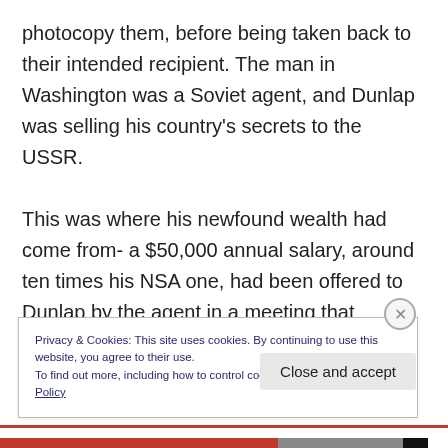photocopy them, before being taken back to their intended recipient. The man in Washington was a Soviet agent, and Dunlap was selling his country's secrets to the USSR.

This was where his newfound wealth had come from- a $50,000 annual salary, around ten times his NSA one, had been offered to Dunlap by the agent in a meeting that autumn 'to help him bear the expense of his five kids', in exchange for the information he provided. And provide it he did. Jack Dunlap carried on playing his game of betrayal for nearly four years, on one occasion even
Privacy & Cookies: This site uses cookies. By continuing to use this website, you agree to their use.
To find out more, including how to control cookies, see here: Cookie Policy
Close and accept